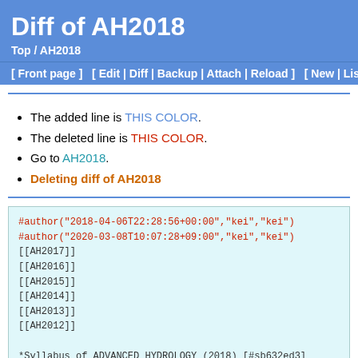Diff of AH2018
Top / AH2018
[ Front page ]   [ Edit | Diff | Backup | Attach | Reload ]   [ New | List of pa
The added line is THIS COLOR.
The deleted line is THIS COLOR.
Go to AH2018.
Deleting diff of AH2018
#author("2018-04-06T22:28:56+00:00","kei","kei")
#author("2020-03-08T10:07:28+09:00","kei","kei")
[[AH2017]]
[[AH2016]]
[[AH2015]]
[[AH2014]]
[[AH2013]]
[[AH2012]]

*Syllabus of ADVANCED HYDROLOGY (2018) [#sb632ed3]
&attachref();

BIG CHANGE from 2017!!

There is no Term Project in AH. Instead, Term Project is p

Updated: 2019/3/6